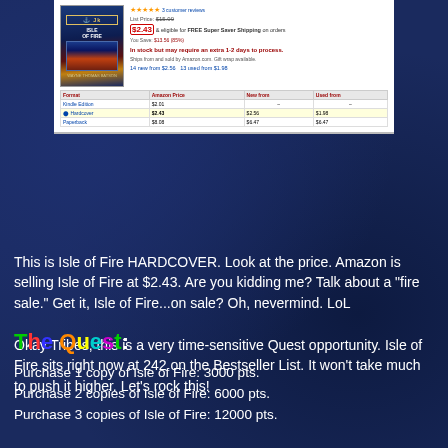[Figure (screenshot): Amazon product page screenshot showing Isle of Fire hardcover book listing at $2.43 with book cover image, star rating, pricing table for Kindle, Hardcover, and Paperback editions]
This is Isle of Fire HARDCOVER. Look at the price. Amazon is selling Isle of Fire at $2.43. Are you kidding me? Talk about a "fire sale." Get it, Isle of Fire...on sale? Oh, nevermind. LoL
Okay Tribes, this is a very time-sensitive Quest opportunity. Isle of Fire sits right now at 242 on the Bestseller List. It won't take much to push it higher. Let's rock this!
The Quest:
Purchase 1 copy of Isle of Fire: 3000 pts.
Purchase 2 copies of Isle of Fire: 6000 pts.
Purchase 3 copies of Isle of Fire: 12000 pts.